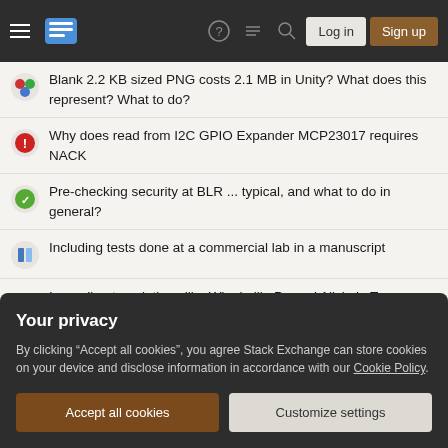Stack Exchange navigation bar with hamburger menu, logo, help, chat, search, Log in, Sign up buttons
Blank 2.2 KB sized PNG costs 2.1 MB in Unity? What does this represent? What to do?
Why does read from I2C GPIO Expander MCP23017 requires NACK
Pre-checking security at BLR ... typical, and what to do in general?
Including tests done at a commercial lab in a manuscript
Is reading translations like Winnie ille Pu and Alicia in Terra Mirabili good practice for approaching classical texts?
Tricky `FindRoot/NExpectation` problem
How likely is it that global nuclear war will make rebuilt civilizaton unable to ever reach current technological level closeTo civilization in 202x?
Your privacy
By clicking "Accept all cookies", you agree Stack Exchange can store cookies on your device and disclose information in accordance with our Cookie Policy.
Accept all cookies   Customize settings